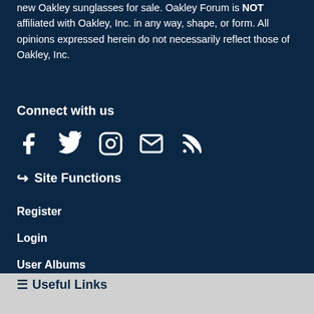new Oakley sunglasses for sale. Oakley Forum is NOT affiliated with Oakley, Inc. in any way, shape, or form. All opinions expressed herein do not necessarily reflect those of Oakley, Inc.
Connect with us
[Figure (other): Social media icons: Facebook, Twitter, Instagram, Email, RSS]
↪ Site Functions
Register
Login
User Albums
☰ Useful Links
Forum Rules
Exchange Guidelines
Posting Guidelines